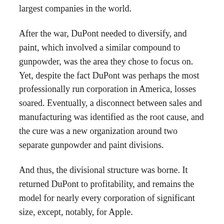largest companies in the world.
After the war, DuPont needed to diversify, and paint, which involved a similar compound to gunpowder, was the area they chose to focus on. Yet, despite the fact DuPont was perhaps the most professionally run corporation in America, losses soared. Eventually, a disconnect between sales and manufacturing was identified as the root cause, and the cure was a new organization around two separate gunpowder and paint divisions.
And thus, the divisional structure was borne. It returned DuPont to profitability, and remains the model for nearly every corporation of significant size, except, notably, for Apple.
And now, Microsoft.
Steve Ballmer restructured Microsoft yesterday as a functional organization. The immensity of this change can